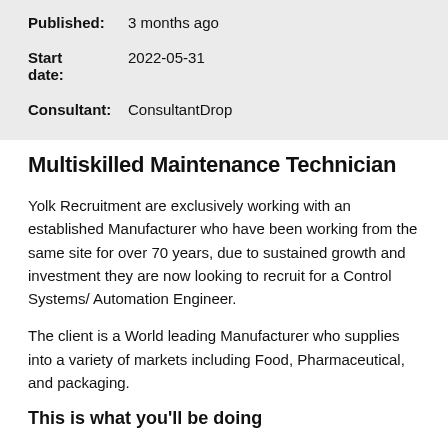Published: 3 months ago
Start date: 2022-05-31
Consultant: ConsultantDrop
Multiskilled Maintenance Technician
Yolk Recruitment are exclusively working with an established Manufacturer who have been working from the same site for over 70 years, due to sustained growth and investment they are now looking to recruit for a Control Systems/ Automation Engineer.
The client is a World leading Manufacturer who supplies into a variety of markets including Food, Pharmaceutical, and packaging.
This is what you'll be doing
In the role of Multiskilled Maintenance Technician you will be